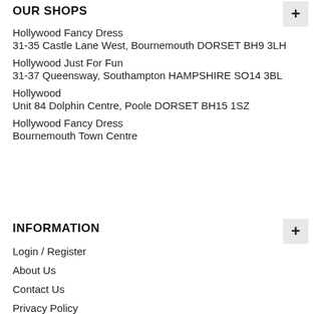OUR SHOPS
Hollywood Fancy Dress
31-35 Castle Lane West, Bournemouth DORSET BH9 3LH
Hollywood Just For Fun
31-37 Queensway, Southampton HAMPSHIRE SO14 3BL
Hollywood
Unit 84 Dolphin Centre, Poole DORSET BH15 1SZ
Hollywood Fancy Dress
Bournemouth Town Centre
INFORMATION
Login / Register
About Us
Contact Us
Privacy Policy
Cookie Policy